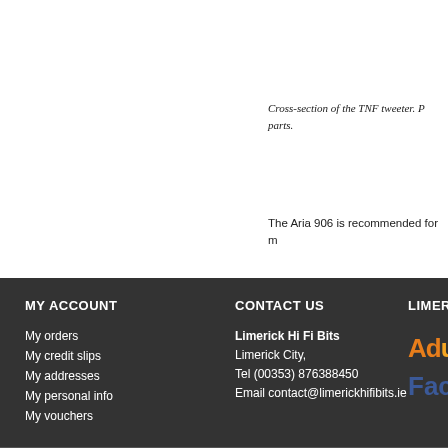Cross-section of the TNF tweeter. P parts.
The Aria 906 is recommended for m
MY ACCOUNT
My orders
My credit slips
My addresses
My personal info
My vouchers
CONTACT US
Limerick Hi Fi Bits
Limerick City,
Tel (00353) 876388450
Email contact@limerickhifibits.ie
LIMER
[Figure (logo): Partially visible orange/yellow logo text starting with 'Adv']
[Figure (logo): Partially visible blue Facebook logo text starting 'Fac']